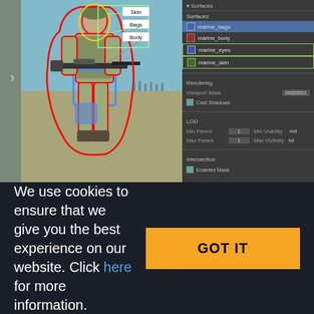[Figure (screenshot): Screenshot of a 3D game engine editor showing a soldier character model with colored outline regions (red, blue, yellow) for Skin, Bags, Body surface assignments on the left, and a properties panel on the right showing Surfaces list (marine_bags, marine_body, marine_eyes, marine_skin), Rendering settings (Viewport Mask: 00000001, Cast Shadows), LOD settings (Min/Max Parent: 1, Min/Max Visibility: inf), and Intersection section with Enabled Mask.]
We use cookies to ensure that we give you the best experience on our website. Click here for more information.